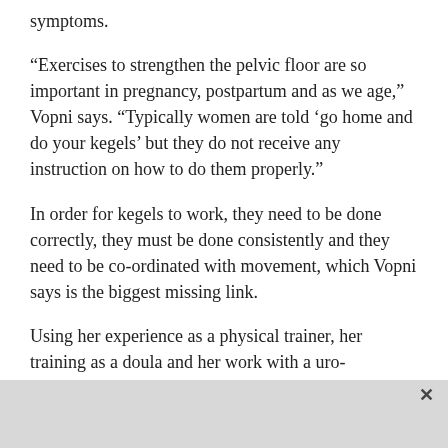symptoms.
“Exercises to strengthen the pelvic floor are so important in pregnancy, postpartum and as we age,” Vopni says. “Typically women are told ‘go home and do your kegels’ but they do not receive any instruction on how to do them properly.”
In order for kegels to work, they need to be done correctly, they must be done consistently and they need to be co-ordinated with movement, which Vopni says is the biggest missing link.
Using her experience as a physical trainer, her training as a doula and her work with a uro-gynecologist, Vopni brings a well-rounded approach to her work and has many tools in her toolbox.